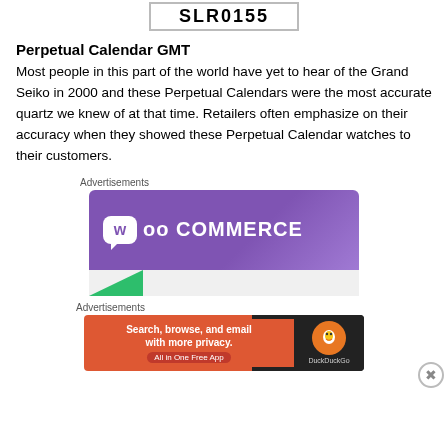[Figure (other): Partial image of a label reading 'SLR0155' in bold black text on white background with border]
Perpetual Calendar GMT
Most people in this part of the world have yet to hear of the Grand Seiko in 2000 and these Perpetual Calendars were the most accurate quartz we knew of at that time. Retailers often emphasize on their accuracy when they showed these Perpetual Calendar watches to their customers.
Advertisements
[Figure (other): WooCommerce advertisement banner with purple gradient background and white WooCommerce logo]
Advertisements
[Figure (other): DuckDuckGo advertisement: 'Search, browse, and email with more privacy. All in One Free App' on orange/dark background with DuckDuckGo logo]